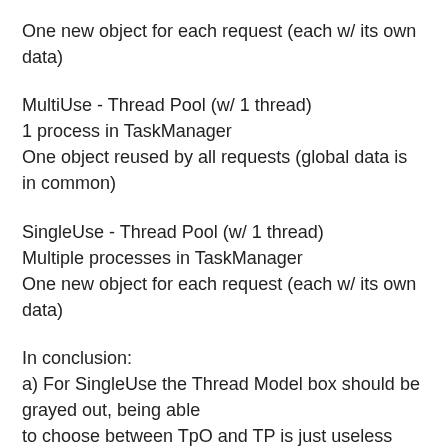One new object for each request (each w/ its own data)
MultiUse - Thread Pool (w/ 1 thread)
1 process in TaskManager
One object reused by all requests (global data is in common)
SingleUse - Thread Pool (w/ 1 thread)
Multiple processes in TaskManager
One new object for each request (each w/ its own data)
In conclusion:
a) For SingleUse the Thread Model box should be grayed out, being able
to choose between TpO and TP is just useless confusion. Even with
Thread Pool 1, all created objects work on different